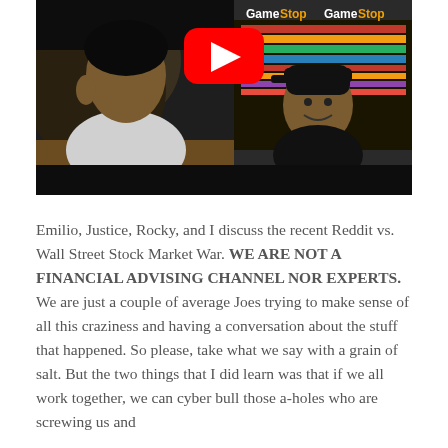[Figure (screenshot): YouTube video thumbnail showing two people in a split-screen layout with a YouTube play button in the center. The right panel shows a person in front of a GameStop store with GameStop logos visible.]
Emilio, Justice, Rocky, and I discuss the recent Reddit vs. Wall Street Stock Market War. WE ARE NOT A FINANCIAL ADVISING CHANNEL NOR EXPERTS. We are just a couple of average Joes trying to make sense of all this craziness and having a conversation about the stuff that happened. So please, take what we say with a grain of salt. But the two things that I did learn was that if we all work together, we can cyber bull those a-holes who are screwing us and